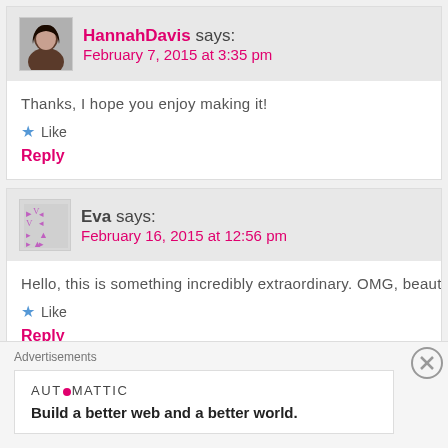HannahDavis says: February 7, 2015 at 3:35 pm
Thanks, I hope you enjoy making it!
Like
Reply
Eva says: February 16, 2015 at 12:56 pm
Hello, this is something incredibly extraordinary. OMG, beaut
Like
Reply
Advertisements
AUTOMATTIC
Build a better web and a better world.